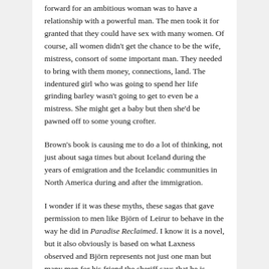forward for an ambitious woman was to have a relationship with a powerful man. The men took it for granted that they could have sex with many women. Of course, all women didn't get the chance to be the wife, mistress, consort of some important man. They needed to bring with them money, connections, land. The indentured girl who was going to spend her life grinding barley wasn't going to get to even be a mistress. She might get a baby but then she'd be pawned off to some young crofter.
Brown's book is causing me to do a lot of thinking, not just about saga times but about Iceland during the years of emigration and the Icelandic communities in North America during and after the immigration.
I wonder if it was these myths, these sagas that gave permission to men like Björn of Leirur to behave in the way he did in Paradise Reclaimed. I know it is a novel, but it also obviously is based on what Laxness observed and Björn represents not just one man but many men for his friend the sheriff says that he is constantly busy having to deal with the problems created by men getting girls